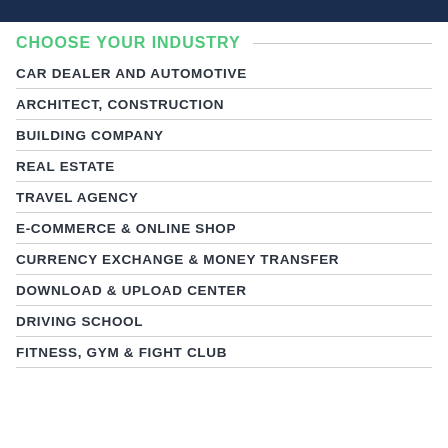CHOOSE YOUR INDUSTRY
CAR DEALER AND AUTOMOTIVE
ARCHITECT, CONSTRUCTION
BUILDING COMPANY
REAL ESTATE
TRAVEL AGENCY
E-COMMERCE & ONLINE SHOP
CURRENCY EXCHANGE & MONEY TRANSFER
DOWNLOAD & UPLOAD CENTER
DRIVING SCHOOL
FITNESS, GYM & FIGHT CLUB